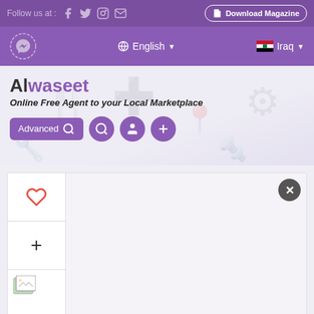Follow us at : [Facebook] [Twitter] [Instagram] [Email]   Download Magazine
[Messenger]   English ▼   Iraq ▼
[Figure (screenshot): Alwaseet website logo area with tagline 'Online Free Agent to your Local Marketplace' and Advanced search bar with icons]
[Figure (screenshot): Product listing card showing heart icon, plus icon, image placeholder, close X button, time banner '11 months ago', and car listing title '2016 Mercedes Benz G63 AMG']
11 months ago
2016 Mercedes Benz G63 AMG